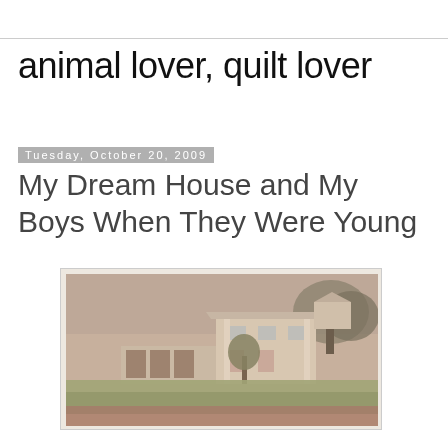animal lover, quilt lover
Tuesday, October 20, 2009
My Dream House and My Boys When They Were Young
[Figure (photo): Vintage sepia/faded color photograph of a two-story white house with a large lawn, a small tree in the foreground, and trees in the background. A low one-story structure with a garage is to the left. The photo has warm pinkish-brown tones typical of 1970s film photography.]